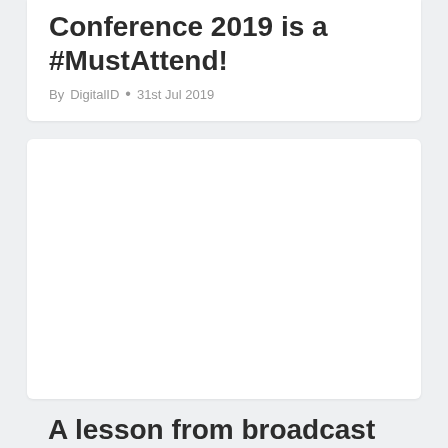Conference 2019 is a #MustAttend!
By DigitalID • 31st Jul 2019
[Figure (photo): A white/blank image placeholder area below the article byline]
A lesson from broadcast television